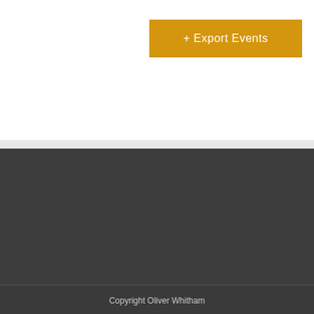[Figure (screenshot): Golden/amber colored button with white text reading '+ Export Events']
Copyright Oliver Whitham